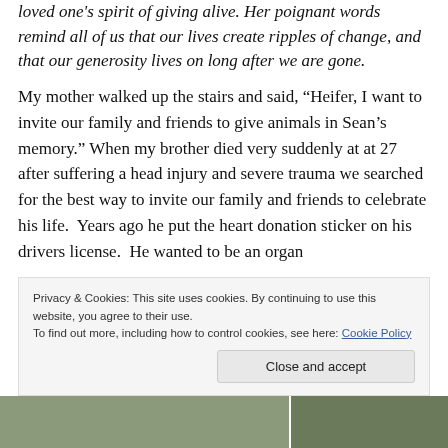loved one's spirit of giving alive. Her poignant words remind all of us that our lives create ripples of change, and that our generosity lives on long after we are gone.
My mother walked up the stairs and said, “Heifer, I want to invite our family and friends to give animals in Sean’s memory.” When my brother died very suddenly at at 27 after suffering a head injury and severe trauma we searched for the best way to invite our family and friends to celebrate his life.  Years ago he put the heart donation sticker on his drivers license.  He wanted to be an organ donor. So we had to decide how we wanted to
Privacy & Cookies: This site uses cookies. By continuing to use this website, you agree to their use.
To find out more, including how to control cookies, see here: Cookie Policy
[Figure (photo): Photo strip at the bottom of the page showing people outdoors, split into two sections]